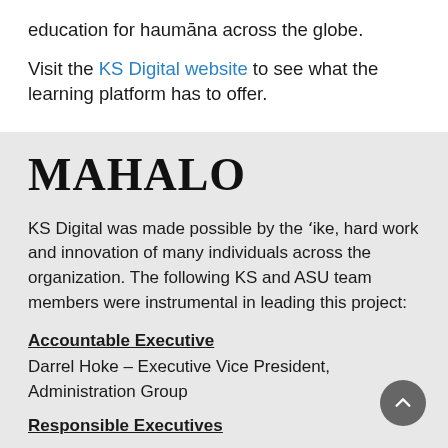education for haumāna across the globe.
Visit the KS Digital website to see what the learning platform has to offer.
MAHALO
KS Digital was made possible by the 'ike, hard work and innovation of many individuals across the organization. The following KS and ASU team members were instrumental in leading this project:
Accountable Executive
Darrel Hoke – Executive Vice President, Administration Group
Responsible Executives